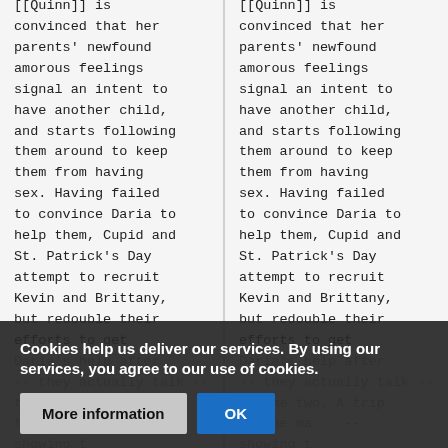[[Quinn]] is convinced that her parents' newfound amorous feelings signal an intent to have another child, and starts following them around to keep them from having sex. Having failed to convince Daria to help them, Cupid and St. Patrick's Day attempt to recruit Kevin and Brittany, but redouble their efforts to get Daria's help after -- they actually talk -- to the two. A trip to the ma-- showing t--
[[Quinn]] is convinced that her parents' newfound amorous feelings signal an intent to have another child, and starts following them around to keep them from having sex. Having failed to convince Daria to help them, Cupid and St. Patrick's Day attempt to recruit Kevin and Brittany, but redouble their efforts to get Daria's help after -- they actually talk -- to the two. A trip to the ma-- showing t--
Cookies help us deliver our services. By using our services, you agree to our use of cookies.